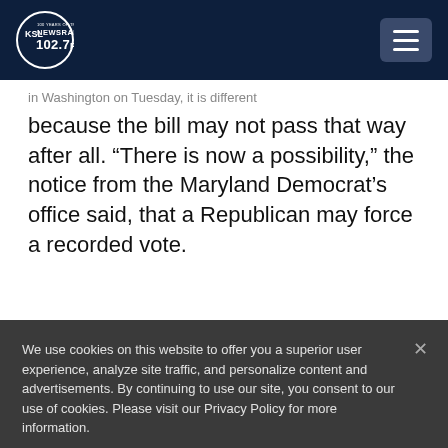KSL NewsRadio 102.7FM
in Washington on Tuesday, it Is different because the bill may not pass that way after all. “There is now a possibility,” the notice from the Maryland Democrat’s office said, that a Republican may force a recorded vote.
We use cookies on this website to offer you a superior user experience, analyze site traffic, and personalize content and advertisements. By continuing to use our site, you consent to our use of cookies. Please visit our Privacy Policy for more information.
Accept Cookies